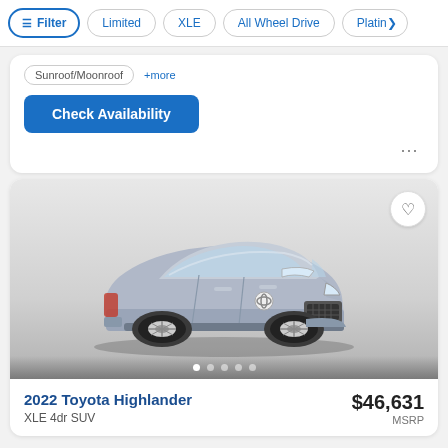Filter | Limited | XLE | All Wheel Drive | Platin>
Sunroof/Moonroof  +more
Check Availability
[Figure (photo): 2022 Toyota Highlander XLE 4dr SUV in silver/grey color, 3/4 front view, on a light gradient background with carousel dots below]
2022 Toyota Highlander
XLE 4dr SUV
$46,631
MSRP